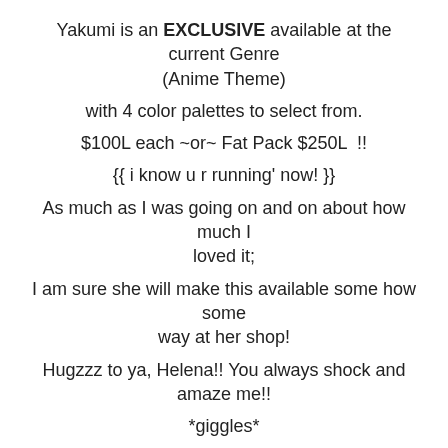Yakumi is an EXCLUSIVE available at the current Genre (Anime Theme)
with 4 color palettes to select from.
$100L each ~or~ Fat Pack $250L  !!
{{ i know u r running' now! }}
As much as I was going on and on about how much I loved it;
I am sure she will make this available some how some way at her shop!
Hugzzz to ya, Helena!! You always shock and amaze me!!
*giggles*